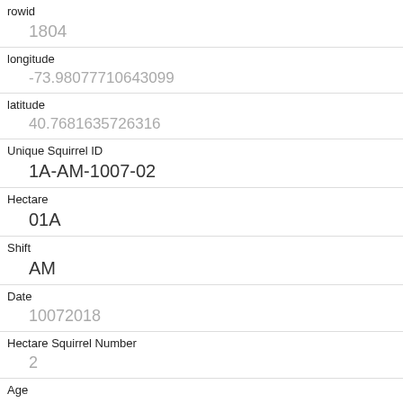| Field | Value |
| --- | --- |
| rowid | 1804 |
| longitude | -73.98077710643099 |
| latitude | 40.7681635726316 |
| Unique Squirrel ID | 1A-AM-1007-02 |
| Hectare | 01A |
| Shift | AM |
| Date | 10072018 |
| Hectare Squirrel Number | 2 |
| Age | Adult |
| Primary Fur Color | Gray |
| Highlight Fur Color |  |